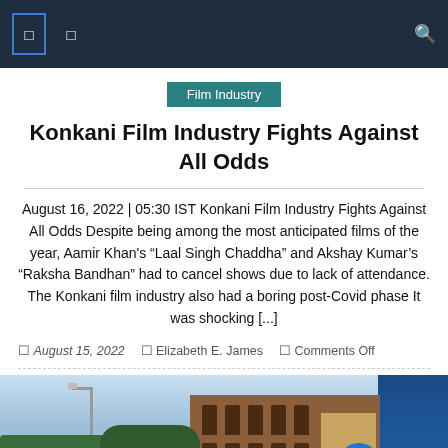Navigation bar with icons and search
Film Industry
Konkani Film Industry Fights Against All Odds
August 16, 2022 | 05:30 IST Konkani Film Industry Fights Against All Odds Despite being among the most anticipated films of the year, Aamir Khan's “Laal Singh Chaddha” and Akshay Kumar’s “Raksha Bandhan” had to cancel shows due to lack of attendance. The Konkani film industry also had a boring post-Covid phase It was shocking [...]
August 15, 2022   Elizabeth E. James   Comments Off
[Figure (photo): Outdoor photograph showing a brick building, street lamp, trees and road in a town setting]